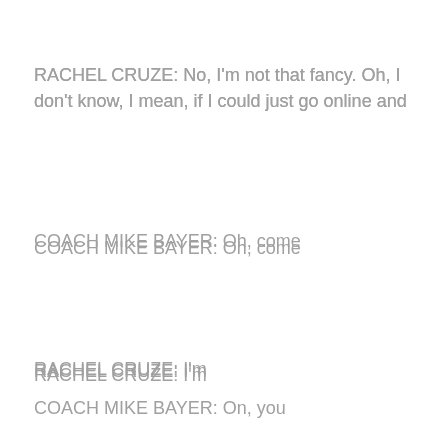RACHEL CRUZE: No, I'm not that fancy. Oh, I don't know, I mean, if I could just go online and
COACH MIKE BAYER: Oh, come
RACHEL CRUZE: I'm
COACH MIKE BAYER: On, you
TEXT ME 💬 +1 (310) 984-1858